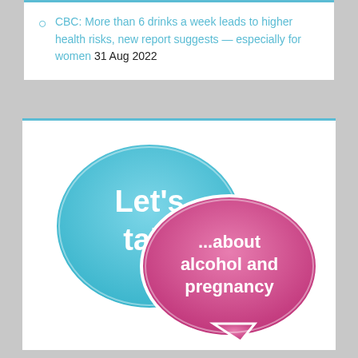CBC: More than 6 drinks a week leads to higher health risks, new report suggests — especially for women 31 Aug 2022
[Figure (illustration): Two speech bubbles: a blue bubble on the left saying 'Let's talk' and a pink/magenta bubble on the right saying '...about alcohol and pregnancy']